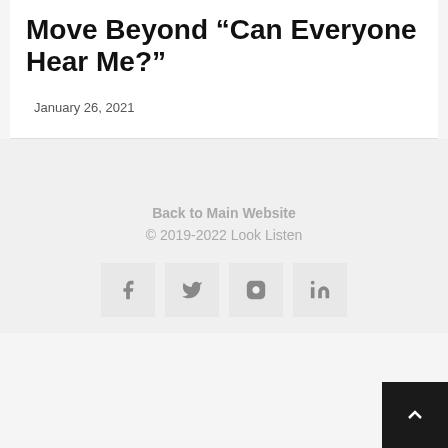Move Beyond “Can Everyone Hear Me?”
January 26, 2021
Back to Main Website
© 2019-2022 Look Listen
[Figure (other): Social media icon buttons: Facebook, Twitter, Instagram, LinkedIn]
[Figure (other): Back to top button with upward chevron arrow on dark background]